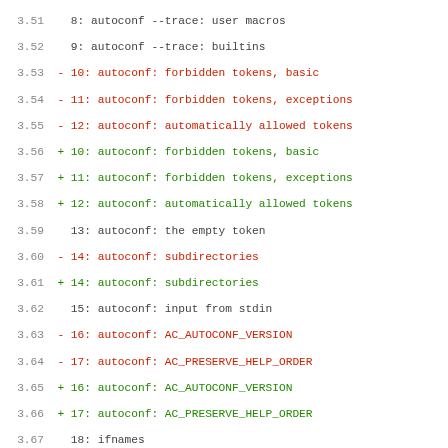3.51  8: autoconf --trace: user macros
3.52  9: autoconf --trace: builtins
3.53 - 10: autoconf: forbidden tokens, basic
3.54 - 11: autoconf: forbidden tokens, exceptions
3.55 - 12: autoconf: automatically allowed tokens
3.56 + 10: autoconf: forbidden tokens, basic
3.57 + 11: autoconf: forbidden tokens, exceptions
3.58 + 12: autoconf: automatically allowed tokens
3.59  13: autoconf: the empty token
3.60 - 14: autoconf: subdirectories
3.61 + 14: autoconf: subdirectories
3.62  15: autoconf: input from stdin
3.63 - 16: autoconf: AC_AUTOCONF_VERSION
3.64 - 17: autoconf: AC_PRESERVE_HELP_ORDER
3.65 + 16: autoconf: AC_AUTOCONF_VERSION
3.66 + 17: autoconf: AC_PRESERVE_HELP_ORDER
3.67  18: ifnames
3.68  19: autoheader
3.69 - 20: autoheader and macros
3.70 + 20: autoheader and macros
3.71  21: autoupdate
3.72 - 22: autoupdating AC_LINK_FILES
3.73 + 22: autoupdating AC_LINK_FILES
3.74  23: autoupdating AC_PREREQ
3.75 - 24: autoupdating AU_ALIAS
3.76 - 25: autoupdating OLD to NEW
3.77 + 24: autoupdating AU_ALIAS
3.78 + 25: autoupdating OLD to NEW
3.79  26: autoupdating macros recursively
3.80 - 27: autoupdating AC_HELP_STRING
3.81 - 28: autoupdating with m4sugar
3.82 + 27: autoupdating AC_HELP_STRING
3.83 + 28: autoupdating with m4sugar